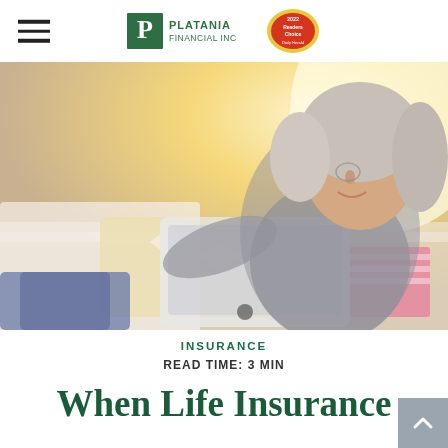Platania Financial Inc — Navigation header with hamburger menu and logo
[Figure (photo): Older woman with grey hair lounging on a bed or sofa, smiling, holding a tablet/laptop. She is wearing a grey sweater. The background is bright and warm with natural light. There is a yellow patterned pillow visible.]
INSURANCE
READ TIME: 3 MIN
When Life Insurance